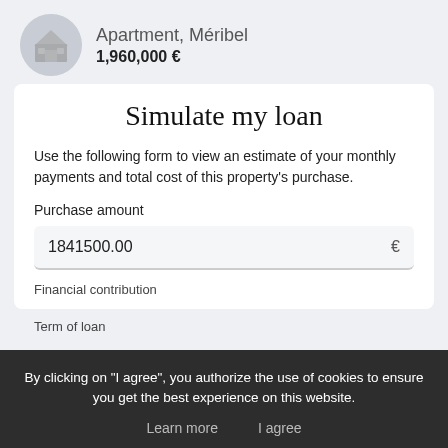Apartment, Méribel
1,960,000 €
Simulate my loan
Use the following form to view an estimate of your monthly payments and total cost of this property's purchase.
Purchase amount
1841500.00 €
Financial contribution
Term of loan
By clicking on "I agree", you authorize the use of cookies to ensure you get the best experience on this website.
Learn more   I agree